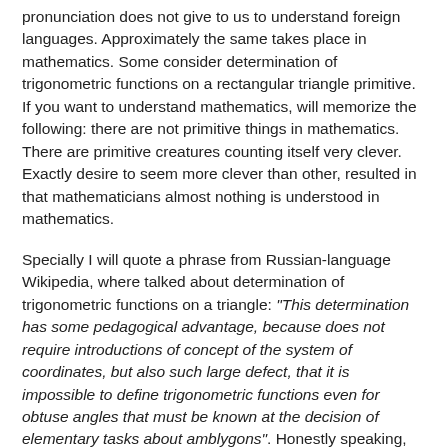pronunciation does not give to us to understand foreign languages. Approximately the same takes place in mathematics. Some consider determination of trigonometric functions on a rectangular triangle primitive. If you want to understand mathematics, will memorize the following: there are not primitive things in mathematics. There are primitive creatures counting itself very clever. Exactly desire to seem more clever than other, resulted in that mathematicians almost nothing is understood in mathematics.
Specially I will quote a phrase from Russian-language Wikipedia, where talked about determination of trigonometric functions on a triangle: "This determination has some pedagogical advantage, because does not require introductions of concept of the system of coordinates, but also such large defect, that it is impossible to define trigonometric functions even for obtuse angles that must be known at the decision of elementary tasks about amblygons". Honestly speaking, like thick ignorance of mathematicians simply shocks me. What triangle are trigonometric functions determined for? Correctly, for RECTANGULAR. Let though one mathematician will show